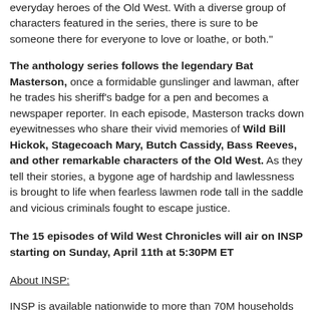everyday heroes of the Old West. With a diverse group of characters featured in the series, there is sure to be someone there for everyone to love or loathe, or both."
The anthology series follows the legendary Bat Masterson, once a formidable gunslinger and lawman, after he trades his sheriff's badge for a pen and becomes a newspaper reporter. In each episode, Masterson tracks down eyewitnesses who share their vivid memories of Wild Bill Hickok, Stagecoach Mary, Butch Cassidy, Bass Reeves, and other remarkable characters of the Old West. As they tell their stories, a bygone age of hardship and lawlessness is brought to life when fearless lawmen rode tall in the saddle and vicious criminals fought to escape justice.
The 15 episodes of Wild West Chronicles will air on INSP starting on Sunday, April 11th at 5:30PM ET
About INSP:
INSP is available nationwide to more than 70M households